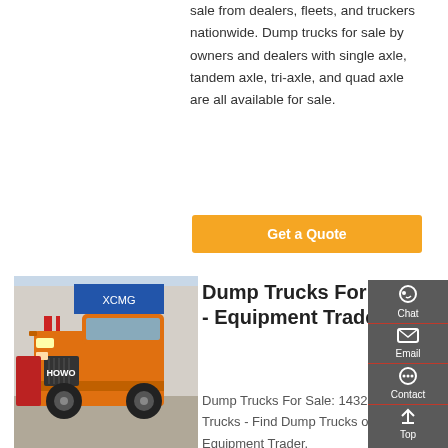sale from dealers, fleets, and truckers nationwide. Dump trucks for sale by owners and dealers with single axle, tandem axle, tri-axle, and quad axle are all available for sale.
Get a Quote
[Figure (photo): Orange dump truck parked in front of a commercial building with blue signage and red accents]
Dump Trucks For Sale - Equipment Trader
Dump Trucks For Sale: 1432 Dump Trucks - Find Dump Trucks on Equipment Trader.
[Figure (infographic): Right sidebar with Chat, Email, Contact, and Top navigation icons on dark gray background]